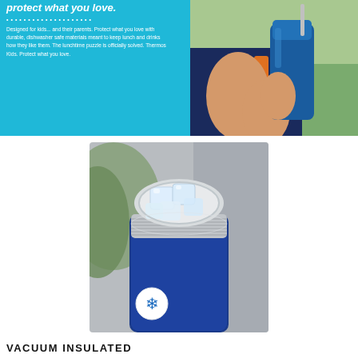[Figure (photo): Blue promotional banner with white italic text partially visible at top reading 'protect what you love.' with dotted line, followed by body text about Thermos Kids products. Right half shows a child holding a blue Thermos bottle with orange backpack straps visible.]
[Figure (photo): Close-up product photo of a blue Thermos vacuum insulated food jar opened, showing ice cubes inside a stainless steel interior. A white circular badge with a blue snowflake icon is in the lower left corner of the image.]
VACUUM INSULATED